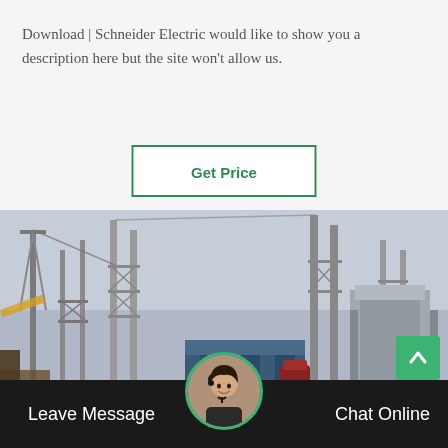Download | Schneider Electric would like to show you a description here but the site won't allow us.
[Figure (other): Button with green border labeled 'Get Price']
[Figure (photo): Outdoor industrial electrical substation with large transformers, metal towers, and machinery under a cloudy sky]
Leave Message
Chat Online